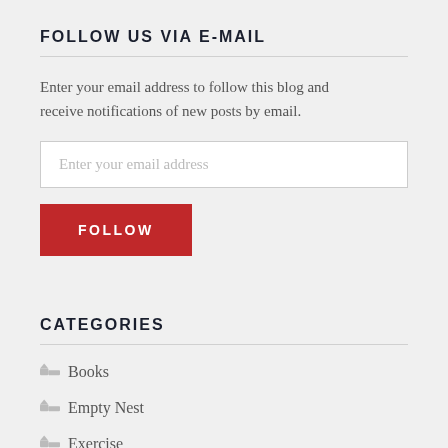FOLLOW US VIA E-MAIL
Enter your email address to follow this blog and receive notifications of new posts by email.
Enter your email address
FOLLOW
CATEGORIES
Books
Empty Nest
Exercise